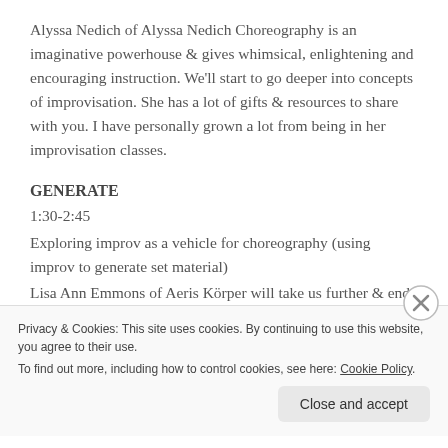Alyssa Nedich of Alyssa Nedich Choreography is an imaginative powerhouse & gives whimsical, enlightening and encouraging instruction. We'll start to go deeper into concepts of improvisation. She has a lot of gifts & resources to share with you. I have personally grown a lot from being in her improvisation classes.
GENERATE
1:30-2:45
Exploring improv as a vehicle for choreography (using improv to generate set material)
Lisa Ann Emmons of Aeris Körper will take us further & end the day with concepts to encapsulate your creation. How
Privacy & Cookies: This site uses cookies. By continuing to use this website, you agree to their use.
To find out more, including how to control cookies, see here: Cookie Policy
Close and accept